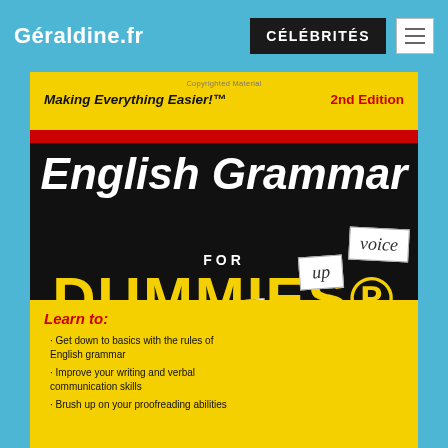Géraldine.fr | CÉLÉBRITÉS
[Figure (photo): Book cover of 'English Grammar For Dummies, 2nd Edition' published by Wiley. Yellow and black cover with red stripe. Features the tagline 'Making Everything Easier!' and bullet points about learning English grammar. Word cards showing 'up', 'voice', 'lise', 't' are visible at the bottom right. Bottom yellow section reads: Learn to: Get down to basics with the rules of English grammar; Improve your writing and verbal communication skills; Brush up on your proofreading abilities.]